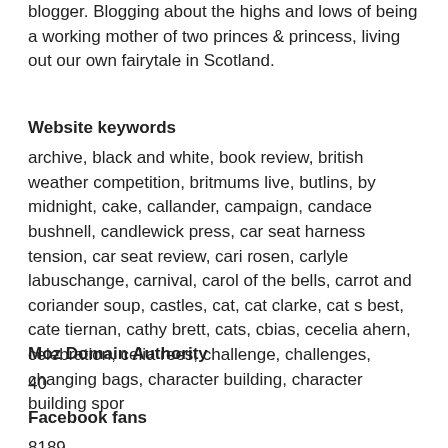blogger. Blogging about the highs and lows of being a working mother of two princes & princess, living out our own fairytale in Scotland.
Website keywords
archive, black and white, book review, british weather competition, britmums live, butlins, by midnight, cake, callander, campaign, candace bushnell, candlewick press, car seat harness tension, car seat review, cari rosen, carlyle labuschange, carnival, carol of the bells, carrot and coriander soup, castles, cat, cat clarke, cat s best, cate tiernan, cathy brett, cats, cbias, cecelia ahern, celebration, celia rees, challenge, challenges, changing bags, character building, character building spor
Moz Domain Authority
40
Facebook fans
8189